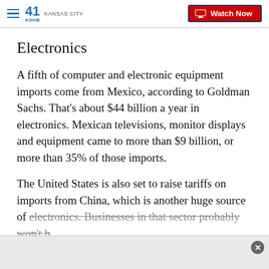41 KSHB KANSAS CITY — Watch Now
Electronics
A fifth of computer and electronic equipment imports come from Mexico, according to Goldman Sachs. That's about $44 billion a year in electronics. Mexican televisions, monitor displays and equipment came to more than $9 billion, or more than 35% of those imports.
The United States is also set to raise tariffs on imports from China, which is another huge source of electronics. Businesses in that sector probably won't b